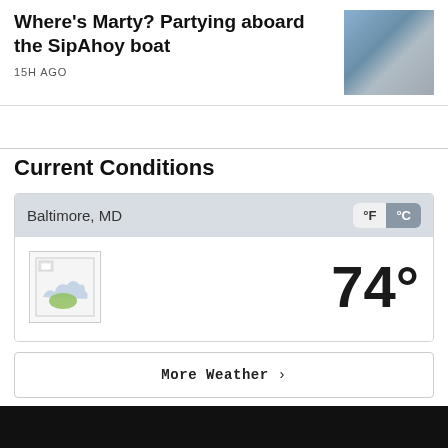Where's Marty? Partying aboard the SipAhoy boat
15H AGO
[Figure (photo): Photo of people on a boat]
Current Conditions
Baltimore, MD
°F °C
[Figure (other): Weather icon (broken image)]
74°
More Weather ›